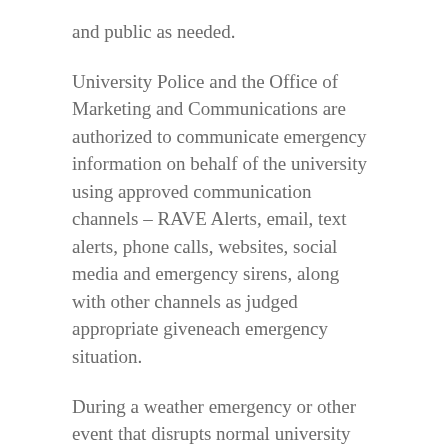and public as needed.
University Police and the Office of Marketing and Communications are authorized to communicate emergency information on behalf of the university using approved communication channels – RAVE Alerts, email, text alerts, phone calls, websites, social media and emergency sirens, along with other channels as judged appropriate giveneach emergency situation.
During a weather emergency or other event that disrupts normal university operations, university marketing and communications staff will reach out to members of the media to engage their assistance in notifying the public.
Compliance with FOIA
As a state entity, Henderson State University